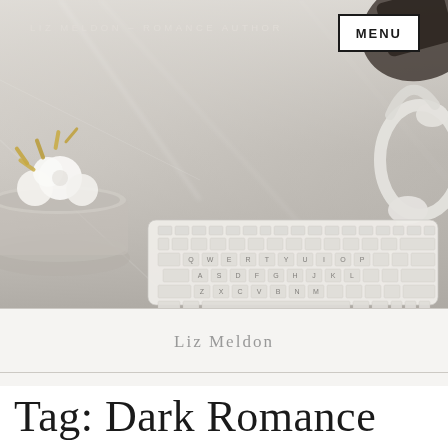[Figure (photo): Top-down flatlay photo of a white desk scene with a white wireless keyboard, a decorative silver bowl with white flowers, gold paper clips, and white over-ear headphones on a marble/light gray surface]
LIZ MELDON – ROMANCE AUTHOR
MENU
Liz Meldon
Tag: Dark Romance